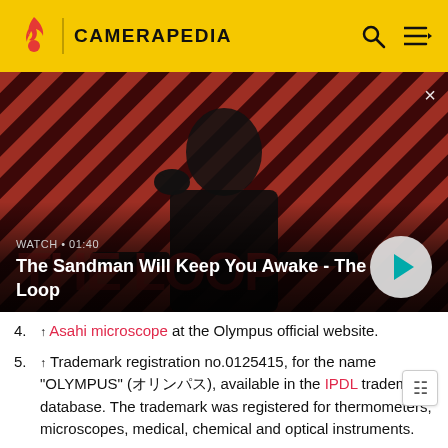CAMERAPEDIA
[Figure (screenshot): Video thumbnail showing a dark figure with a crow on their shoulder against a red and black striped background. Text overlay reads: WATCH • 01:40 / The Sandman Will Keep You Awake - The Loop. A play button is visible on the right. A close (×) button appears in the top-right corner.]
4. ↑ Asahi microscope at the Olympus official website.
5. ↑ Trademark registration no.0125415, for the name "OLYMPUS" (オリンパス), available in the IPDL trademark database. The trademark was registered for thermometers, microscopes, medical, chemical and optical instruments.